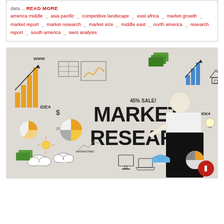data ... READ MORE
america middle _ asia pacific _ competitive landscape _ east africa _ market growth _ market report _ market research _ market size _ middle east _ north america _ research report _ south america _ swot analysis
[Figure (photo): Photo of a man in a white shirt writing 'MARKET RESEARCH' on a whiteboard decorated with business icons including bar charts, pie charts, trend arrows, currency symbols, devices, and doodles of business concepts.]